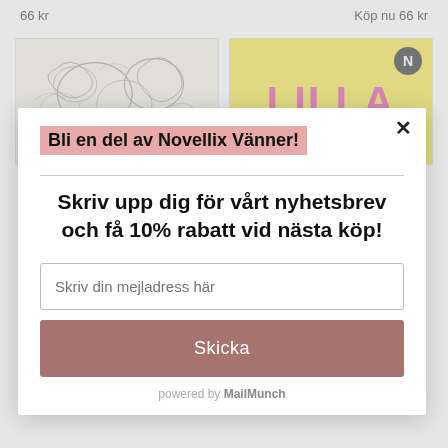66 kr
Köp nu 66 kr
[Figure (illustration): Botanical sketch illustration with floral/leaf motifs on cream background]
[Figure (illustration): Yellow background with bold pink text LILLA and small N logo badge]
Bli en del av Novellix Vänner!
Skriv upp dig för vårt nyhetsbrev och få 10% rabatt vid nästa köp!
Skriv din mejladress här
Skicka
powered by MailMunch